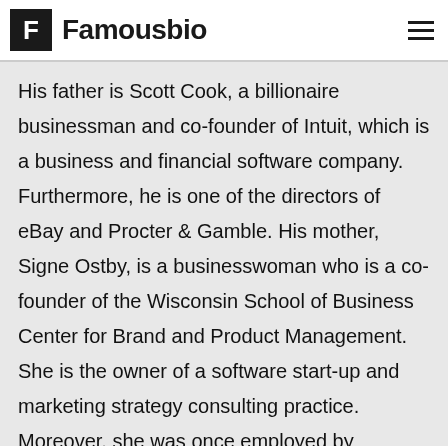Famousbio
His father is Scott Cook, a billionaire businessman and co-founder of Intuit, which is a business and financial software company. Furthermore, he is one of the directors of eBay and Procter & Gamble. His mother, Signe Ostby, is a businesswoman who is a co-founder of the Wisconsin School of Business Center for Brand and Product Management. She is the owner of a software start-up and marketing strategy consulting practice. Moreover, she was once employed by multinational corporations like